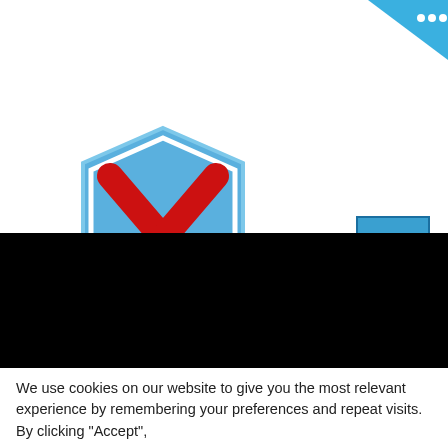[Figure (logo): Blue shield logo with red X cross, labeled Challenging Spirit]
Challenging Spirit
[Figure (screenshot): Black video/banner area covering middle portion of page]
We use cookies on our website to give you the most relevant experience by remembering your preferences and repeat visits. By clicking “Accept”,